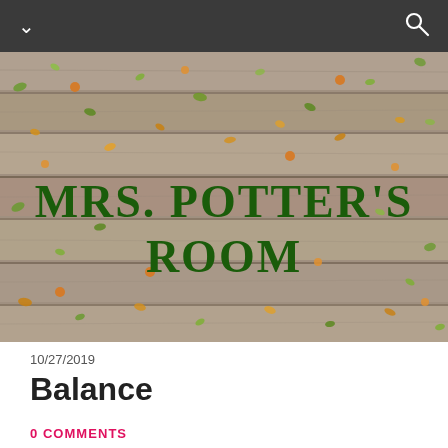MRS. POTTER'S ROOM (navigation bar)
[Figure (photo): Overhead view of weathered wooden planks covered with scattered autumn leaves (green, yellow, orange) serving as a banner/hero image for a classroom blog. Text overlay reads MRS. POTTER'S ROOM in large dark green serif uppercase letters.]
10/27/2019
Balance
0 COMMENTS